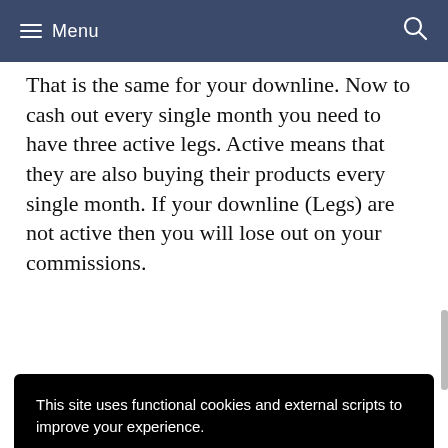Menu
That is the same for your downline. Now to cash out every single month you need to have three active legs. Active means that they are also buying their products every single month. If your downline (Legs) are not active then you will lose out on your commissions.
This site uses functional cookies and external scripts to improve your experience.
More information
to keep your eye on this as anyone can...